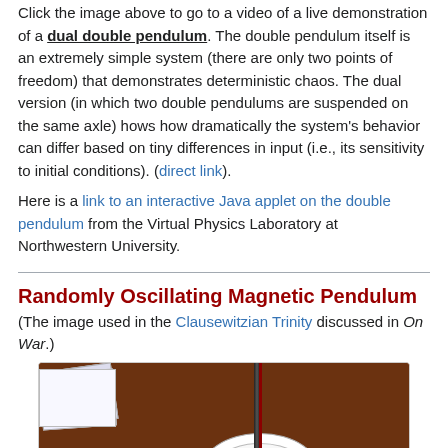Click the image above to go to a video of a live demonstration of a dual double pendulum. The double pendulum itself is an extremely simple system (there are only two points of freedom) that demonstrates deterministic chaos. The dual version (in which two double pendulums are suspended on the same axle) hows how dramatically the system's behavior can differ based on tiny differences in input (i.e., its sensitivity to initial conditions). (direct link).
Here is a link to an interactive Java applet on the double pendulum from the Virtual Physics Laboratory at Northwestern University.
Randomly Oscillating Magnetic Pendulum
(The image used in the Clausewitzian Trinity discussed in On War.)
[Figure (photo): Photo of a randomly oscillating magnetic pendulum apparatus on a wooden table, showing a vertical rod with a pendulum bob above a circular target paper, with some sheets of paper in the upper left corner.]